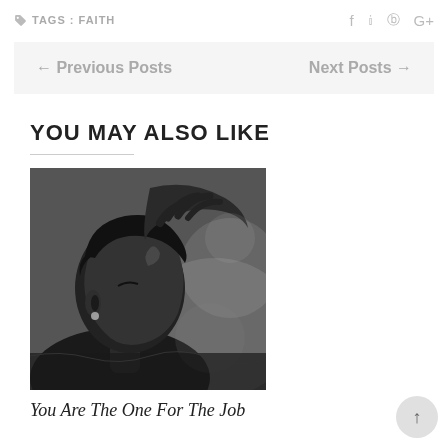🏷 TAGS : FAITH   f  ✓  ⊕  G+
← Previous Posts    Next Posts →
YOU MAY ALSO LIKE
[Figure (photo): Black and white photograph of a woman with closed eyes and hand raised to her head, appearing to be in prayer or worship]
You Are The One For The Job